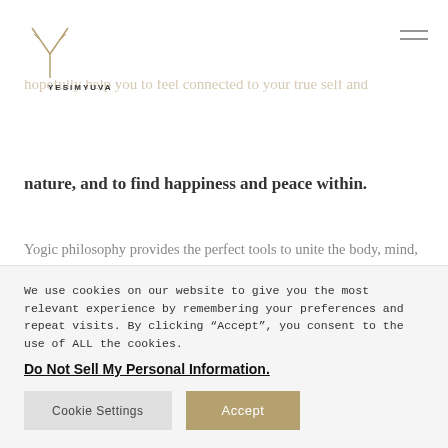[Figure (logo): YESIMYUVA logo — a stylized Y branch symbol above the text YESIMYUVA]
compassionate all together
My mission is to share my experiences with you and hopefully help you to feel connected to your true self and nature, and to find happiness and peace within.
Yogic philosophy provides the perfect tools to unite the body, mind, and soul. By integrating yoga into your daily life, you will learn to be the observer of your emotions, thoughts, and all the events around you, instead of identifying yourself with them. You will release blockages
We use cookies on our website to give you the most relevant experience by remembering your preferences and repeat visits. By clicking “Accept”, you consent to the use of ALL the cookies.
Do Not Sell My Personal Information.